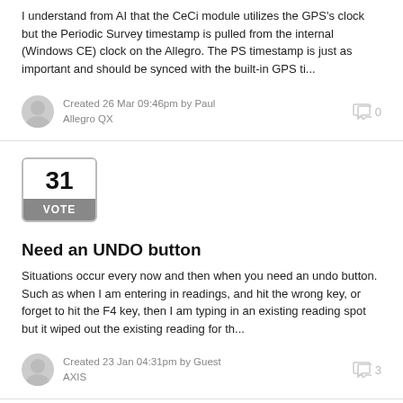I understand from AI that the CeCi module utilizes the GPS's clock but the Periodic Survey timestamp is pulled from the internal (Windows CE) clock on the Allegro. The PS timestamp is just as important and should be synced with the built-in GPS ti...
Created 26 Mar 09:46pm by Paul
Allegro QX
0 comments
[Figure (other): Vote box showing 31 votes with a grey VOTE button]
Need an UNDO button
Situations occur every now and then when you need an undo button. Such as when I am entering in readings, and hit the wrong key, or forget to hit the F4 key, then I am typing in an existing reading spot but it wiped out the existing reading for th...
Created 23 Jan 04:31pm by Guest
AXIS
3 comments
[Figure (other): Partial vote box visible at bottom of page]